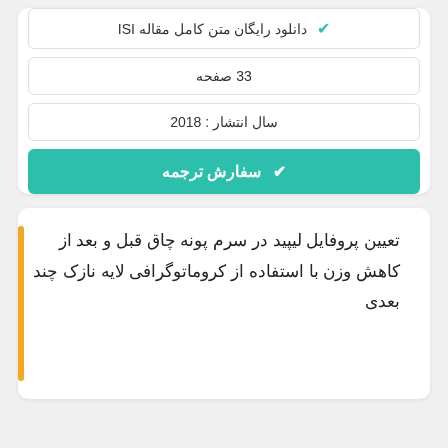دانلود رایگان متن کامل مقاله ISI ✔
33 صفحه
سال انتشار : 2018
✔ سفارش ترجمه
تعیین پروفایل لیپید در سرم پونه چاق قبل و بعد از کاهش وزن با استفاده از کروماتوگرافی لایه نازک چند بعدی